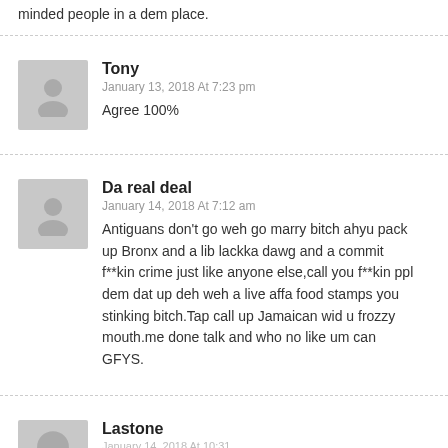minded people in a dem place.
Tony
January 13, 2018 At 7:23 pm
Agree 100%
Da real deal
January 14, 2018 At 7:12 am
Antiuans don't go weh go marry bitch ahyu pack up Bronx and a lib lackka dawg and a commit f**kin crime just like anyone else,call you f**kin ppl dem dat up deh weh a live affa food stamps you stinking bitch.Tap call up Jamaican wid u frozzy mouth.me done talk and who no like um can GFYS.
Lastone